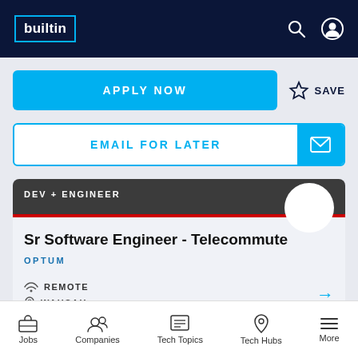builtin
APPLY NOW
SAVE
EMAIL FOR LATER
DEV + ENGINEER
Sr Software Engineer - Telecommute
OPTUM
REMOTE
WAUSAU
Jobs  Companies  Tech Topics  Tech Hubs  More